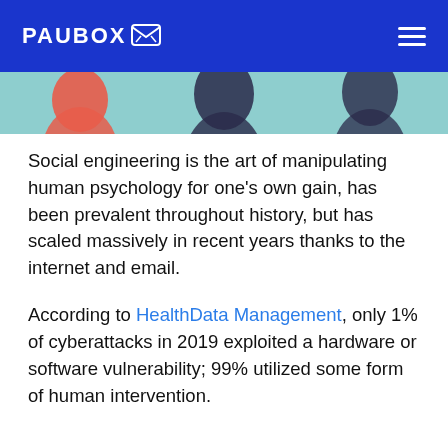PAUBOX [logo with envelope icon] [hamburger menu]
[Figure (illustration): Partial view of illustrated characters on a teal/light blue background, cropped at the top of the content area]
Social engineering is the art of manipulating human psychology for one’s own gain, has been prevalent throughout history, but has scaled massively in recent years thanks to the internet and email.
According to HealthData Management, only 1% of cyberattacks in 2019 exploited a hardware or software vulnerability; 99% utilized some form of human intervention.